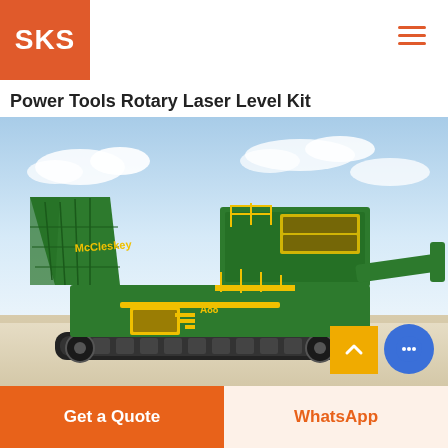SKS
Power Tools Rotary Laser Level Kit
[Figure (photo): Large green McClosure tracked mobile screening/crushing machine (model A88) on a flat surface with blue sky background]
Get a Quote
WhatsApp